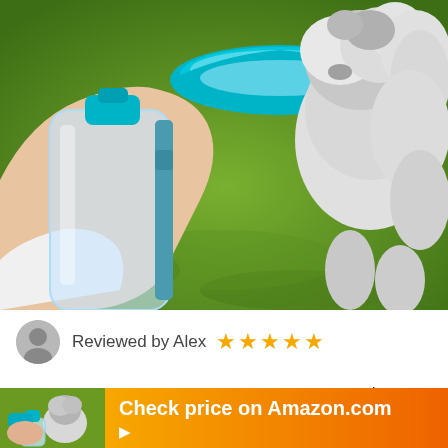[Figure (photo): A hand holding a teal/turquoise portable dog water bottle with a bowl, while a fluffy white dog drinks from it on a green grassy background.]
Reviewed by Alex ★★★★★
PORTABLE PURIFICATION SYSTEM: No worry about
[Figure (photo): Small thumbnail image of a fluffy grey/white dog on grass next to a teal water bottle.]
Check price on Amazon.com ▶